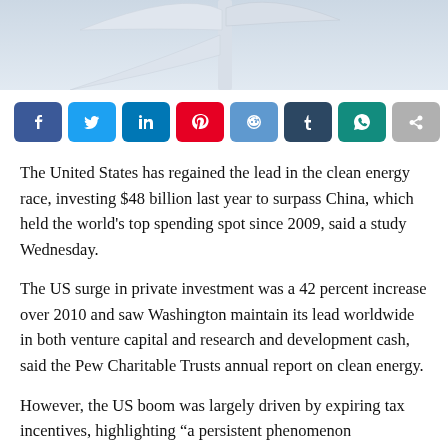[Figure (photo): Partial view of a wind turbine blade and tower against a light blue-grey sky background, cropped at the top of the page.]
[Figure (other): Social media sharing buttons row: Facebook (blue), Twitter (light blue), LinkedIn (blue), Pinterest (red), Reddit (blue), Tumblr (dark blue), WhatsApp (teal), Share (grey).]
The United States has regained the lead in the clean energy race, investing $48 billion last year to surpass China, which held the world's top spending spot since 2009, said a study Wednesday.
The US surge in private investment was a 42 percent increase over 2010 and saw Washington maintain its lead worldwide in both venture capital and research and development cash, said the Pew Charitable Trusts annual report on clean energy.
However, the US boom was largely driven by expiring tax incentives, highlighting “a persistent phenomenon